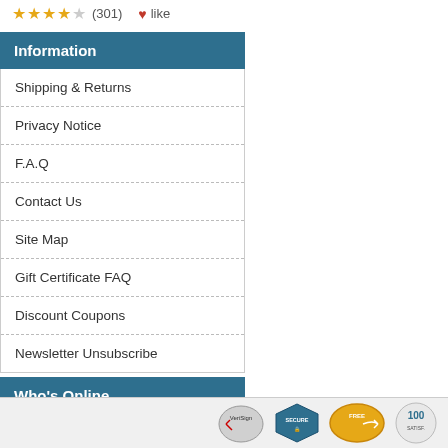★★★★☆ (301) ♥ like
Information
Shipping & Returns
Privacy Notice
F.A.Q
Contact Us
Site Map
Gift Certificate FAQ
Discount Coupons
Newsletter Unsubscribe
Who's Online
There currently are 4 guests online.
[Figure (logo): Footer trust badges: VeriSign, Secure, Free shipping, Satisfaction guarantee]